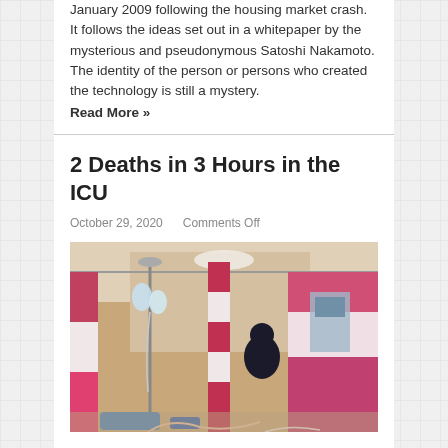January 2009 following the housing market crash. It follows the ideas set out in a whitepaper by the mysterious and pseudonymous Satoshi Nakamoto. The identity of the person or persons who created the technology is still a mystery. Read More »
2 Deaths in 3 Hours in the ICU
October 29, 2020   Comments Off
[Figure (photo): Photo of an ICU room with curtains in pink and red stripes, medical equipment, IV poles with bags, and a dark silhouette of a person visible among hospital beds and curtain dividers.]